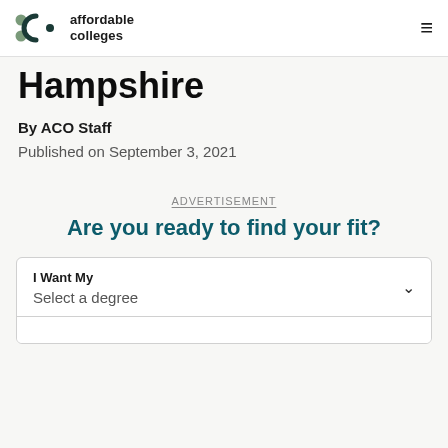affordable colleges
Hampshire
By ACO Staff
Published on September 3, 2021
ADVERTISEMENT
Are you ready to find your fit?
I Want My
Select a degree